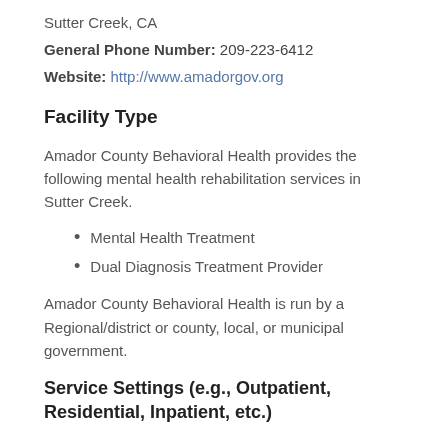Sutter Creek, CA
General Phone Number: 209-223-6412
Website: http://www.amadorgov.org
Facility Type
Amador County Behavioral Health provides the following mental health rehabilitation services in Sutter Creek.
Mental Health Treatment
Dual Diagnosis Treatment Provider
Amador County Behavioral Health is run by a Regional/district or county, local, or municipal government.
Service Settings (e.g., Outpatient, Residential, Inpatient, etc.)